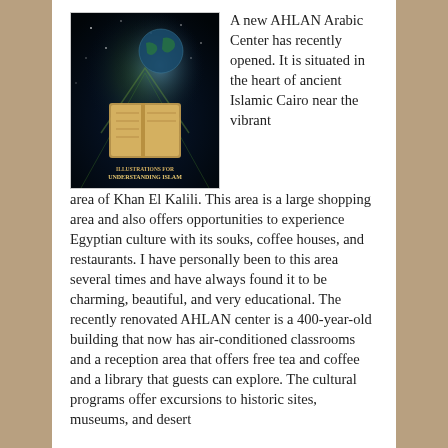[Figure (photo): Book cover for 'Illustrations for Understanding Islam' showing a cosmic scene with a book, globe, and atmospheric light effects]
A new AHLAN Arabic Center has recently opened. It is situated in the heart of ancient Islamic Cairo near the vibrant area of Khan El Kalili. This area is a large shopping area and also offers opportunities to experience Egyptian culture with its souks, coffee houses, and restaurants. I have personally been to this area several times and have always found it to be charming, beautiful, and very educational. The recently renovated AHLAN center is a 400-year-old building that now has air-conditioned classrooms and a reception area that offers free tea and coffee and a library that guests can explore. The cultural programs offer excursions to historic sites, museums, and desert